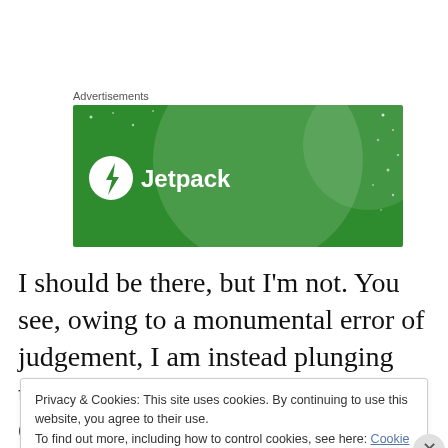Advertisements
[Figure (logo): Jetpack advertisement banner — green background with large translucent circle, scattered white dots, and Jetpack logo (white circle with lightning bolt icon and 'Jetpack' text in white)]
I should be there, but I'm not. You see, owing to a monumental error of judgement, I am instead plunging through the early morning pain into Central Europe. The
Privacy & Cookies: This site uses cookies. By continuing to use this website, you agree to their use.
To find out more, including how to control cookies, see here: Cookie Policy